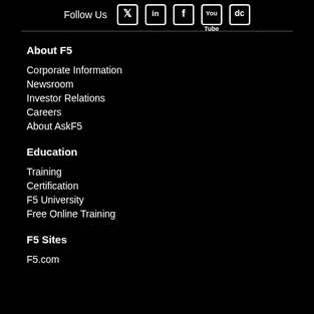Follow Us [Twitter] [LinkedIn] [Facebook] [YouTube] [dc]
About F5
Corporate Information
Newsroom
Investor Relations
Careers
About AskF5
Education
Training
Certification
F5 University
Free Online Training
F5 Sites
F5.com